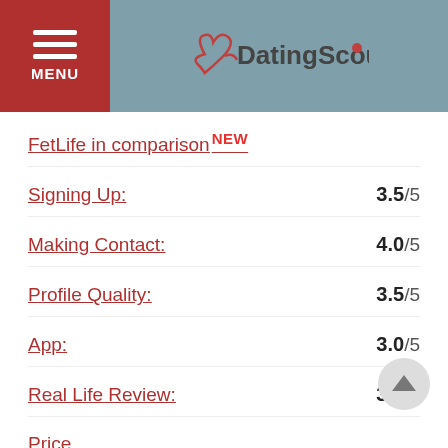MENU | DatingScout
FetLife in comparison NEW
Signing Up: 3.5/5
Making Contact: 4.0/5
Profile Quality: 3.5/5
App: 3.0/5
Real Life Review: 3.5/5
Price
Special Features
FAQ